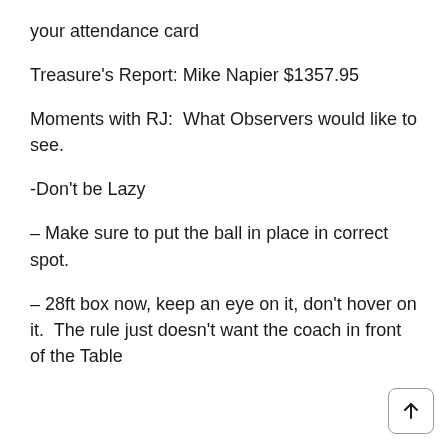your attendance card
Treasure's Report: Mike Napier $1357.95
Moments with RJ:  What Observers would like to see.
-Don't be Lazy
– Make sure to put the ball in place in correct spot.
– 28ft box now, keep an eye on it, don't hover on it.  The rule just doesn't want the coach in front of the Table